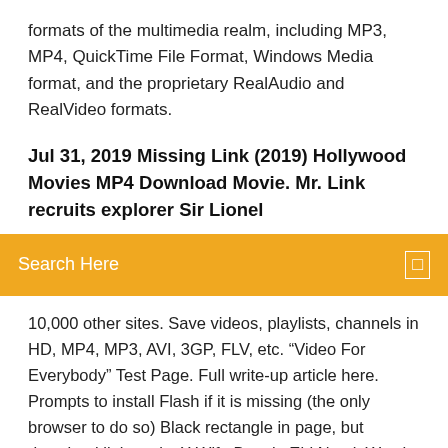formats of the multimedia realm, including MP3, MP4, QuickTime File Format, Windows Media format, and the proprietary RealAudio and RealVideo formats.
Jul 31, 2019 Missing Link (2019) Hollywood Movies MP4 Download Movie. Mr. Link recruits explorer Sir Lionel
[Figure (screenshot): Orange search bar with 'Search Here' placeholder text and a small square icon on the right]
10,000 other sites. Save videos, playlists, channels in HD, MP4, MP3, AVI, 3GP, FLV, etc. "Video For Everybody" Test Page. Full write-up article here. Prompts to install Flash if it is missing (the only browser to do so) Black rectangle in page, but download link works X Wife Bangla Eid Natok Watch HD Download from BanglaNatok18 Blogspot com. Here you will get more and more Natok for free watch and HD Download. All Natok support here. X Wife Bangla Eid Natok Watch HD Download is mainly romantic natok. X Wife Bangla Eid Natok Watch HD Download cast by Kajal Arefin Ome ft Afran Nisho, Tanjin Tisha and more